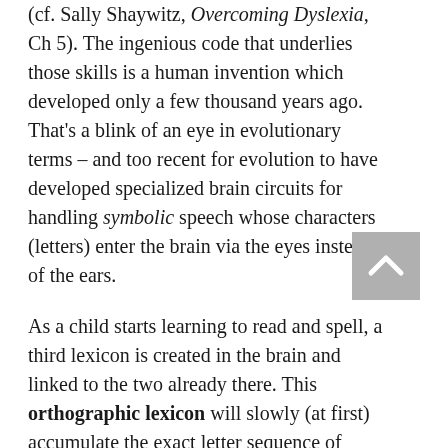(cf. Sally Shaywitz, Overcoming Dyslexia, Ch 5). The ingenious code that underlies those skills is a human invention which developed only a few thousand years ago. That's a blink of an eye in evolutionary terms – and too recent for evolution to have developed specialized brain circuits for handling symbolic speech whose characters (letters) enter the brain via the eyes instead of the ears.
As a child starts learning to read and spell, a third lexicon is created in the brain and linked to the two already there. This orthographic lexicon will slowly (at first) accumulate the exact letter sequence of each word the reader learns to recognize at a glance, that is, without decoding it out (sounding it out). So, for example, if CAT becomes a sight word to spelling (to b Th...